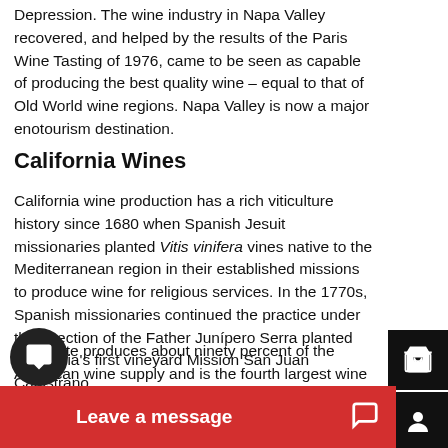Depression. The wine industry in Napa Valley recovered, and helped by the results of the Paris Wine Tasting of 1976, came to be seen as capable of producing the best quality wine – equal to that of Old World wine regions. Napa Valley is now a major enotourism destination.
California Wines
California wine production has a rich viticulture history since 1680 when Spanish Jesuit missionaries planted Vitis vinifera vines native to the Mediterranean region in their established missions to produce wine for religious services. In the 1770s, Spanish missionaries continued the practice under the direction of the Father Junípero Serra planted California's first vineyard Mission San Juan Capistrano.
The state produces about ninety percent of the American wine supply and is the fourth largest wine producer among the world's independent nations. It has more than 1,200 wineries ranging from home-grown and small boutiques to large corporations with international distribution.
[Figure (other): UI overlay with sidebar icons (cart, user, history, filter, bell), a chat bubble, and a Leave a message red bar at the bottom]